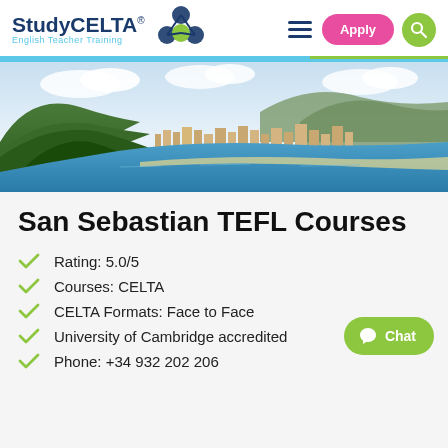[Figure (logo): StudyCELTA English Teacher Training logo with molecule/atom icon]
[Figure (photo): Aerial panoramic view of San Sebastian, Spain, showing a coastal city with mountains, bay, beach, and urban buildings under a partly cloudy sky]
San Sebastian TEFL Courses
Rating: 5.0/5
Courses: CELTA
CELTA Formats: Face to Face
University of Cambridge accredited
Phone: +34 932 202 206